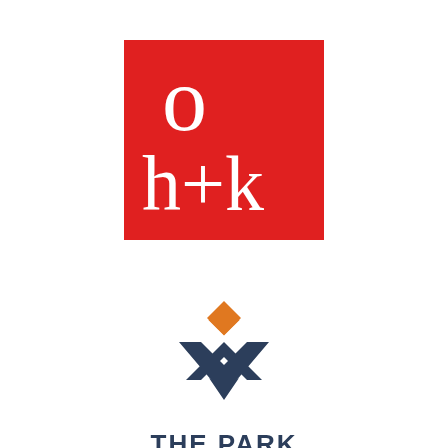[Figure (logo): HOK logo: red square with white serif text 'o' top-left, 'h+k' bottom, stylized]
[Figure (logo): The Park at Auburn logo: dark navy chevron/diamond icon with orange diamond accent on top, text 'THE PARK AT AUBURN' below in dark navy bold uppercase]